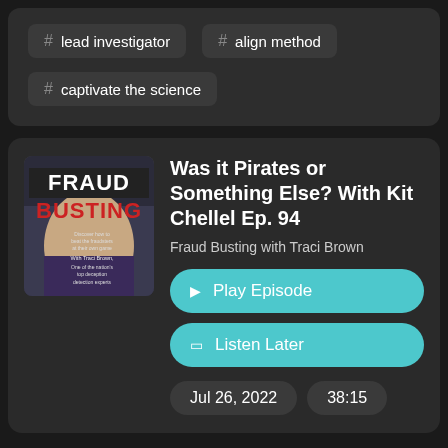# lead investigator
# align method
# captivate the science
Was it Pirates or Something Else? With Kit Chellel Ep. 94
Fraud Busting with Traci Brown
Play Episode
Listen Later
Jul 26, 2022
38:15
Billion dollar cargo ships, ransom and AK47s.  This is